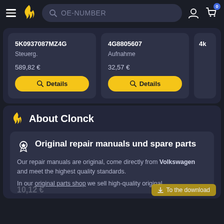[Figure (screenshot): Website header with hamburger menu, Clonck flame logo, OE-NUMBER search bar, user icon and cart icon with badge showing 0]
[Figure (screenshot): Product card showing part number 5K0937087MZ4G, label Steuerg., price 589,82 €, and a Details button]
[Figure (screenshot): Product card showing part number 4G8805607, label Aufnahme, price 32,57 €, and a Details button]
[Figure (screenshot): Partial product card clipped at right edge]
About Clonck
Original repair manuals und spare parts
Our repair manuals are original, come directly from Volkswagen and meet the highest quality standards.
In our original parts shop we sell high-quality original